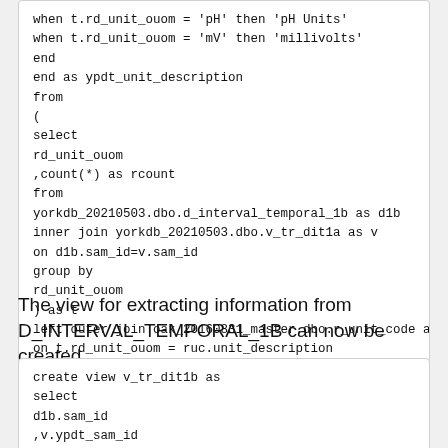when t.rd_unit_ouom = 'pH' then 'pH Units'
when t.rd_unit_ouom = 'mV' then 'millivolts'
end
end as ypdt_unit_description
from
(
select
rd_unit_ouom
,count(*) as rcount
from
yorkdb_20210503.dbo.d_interval_temporal_1b as d1b
inner join yorkdb_20210503.dbo.v_tr_dit1a as v
on d1b.sam_id=v.sam_id
group by
rd_unit_ouom
) as t
left outer join oak_20160831_master.dbo.r_unit_code as ruc
on t.rd_unit_ouom = ruc.unit_description
The view for extracting information from D_INTERVAL_TEMPORAL_1B can now be created.
create view v_tr_dit1b as
select
d1b.sam_id
,v.ypdt_sam_id